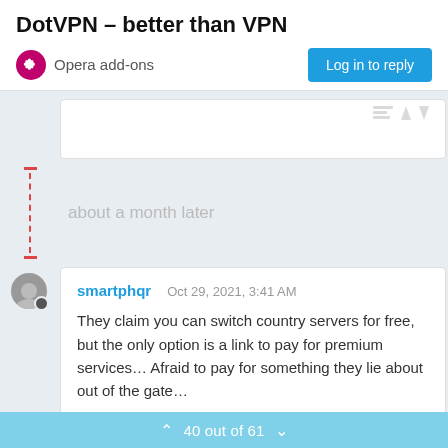DotVPN – better than VPN
Opera add-ons
Log in to reply
[Figure (screenshot): Truncated post area with faint timestamp icons visible at top right]
about a month later
smartphqr   Oct 29, 2021, 3:41 AM

They claim you can switch country servers for free, but the only option is a link to pay for premium services… Afraid to pay for something they lie about out of the gate…
40 out of 61